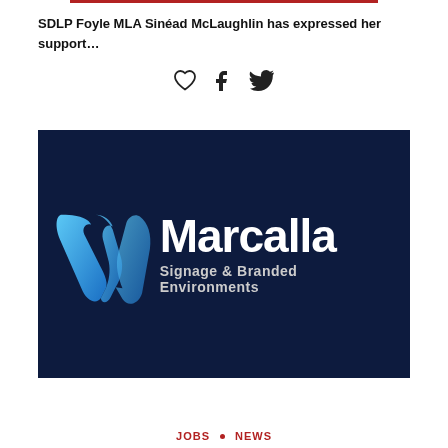SDLP Foyle MLA Sinéad McLaughlin has expressed her support…
[Figure (other): Social media sharing icons: heart (like), Facebook, Twitter]
[Figure (logo): Marcalla Signage & Branded Environments logo on dark navy background with blue stylized M icon]
JOBS • NEWS